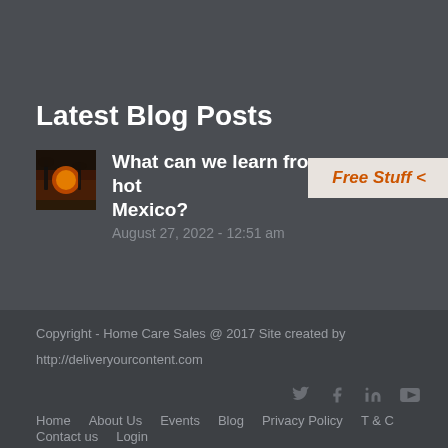Latest Blog Posts
[Figure (photo): Small thumbnail image of a sunset with palm trees silhouetted against an orange sky]
What can we learn from a hot Mexico?
August 27, 2022 - 12:51 am
Free Stuff <
Copyright - Home Care Sales @ 2017 Site created by
http://deliveryourcontent.com
Home   About Us   Events   Blog   Privacy Policy   T & C
Contact us   Login